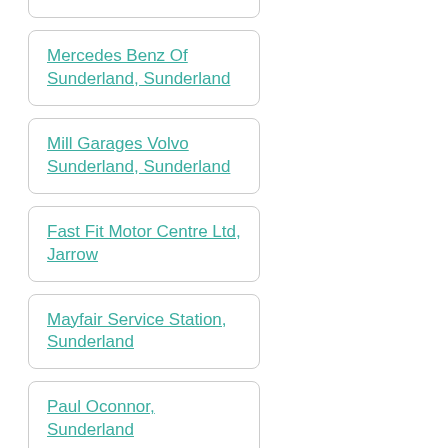Hi Performance Auto Centre, Sunderland
Mercedes Benz Of Sunderland, Sunderland
Mill Garages Volvo Sunderland, Sunderland
Fast Fit Motor Centre Ltd, Jarrow
Mayfair Service Station, Sunderland
Paul Oconnor, Sunderland